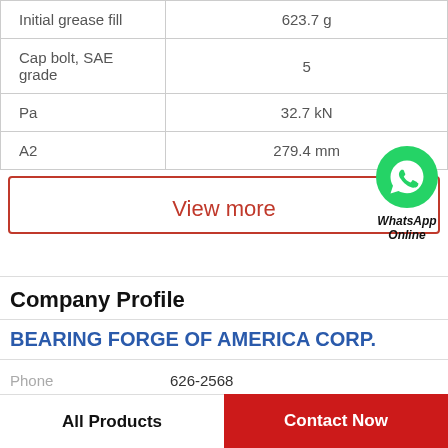| Initial grease fill | 623.7 g |
| Cap bolt, SAE grade | 5 |
| Pa | 32.7 kN |
| A2 | 279.4 mm |
View more
[Figure (logo): WhatsApp green phone icon with WhatsApp Online text below]
Company Profile
BEARING FORGE OF AMERICA CORP.
Phone  626-2568
All Products
Contact Now